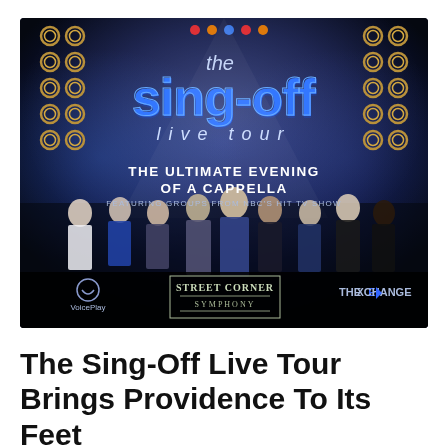[Figure (photo): Promotional poster for 'The Sing-Off Live Tour' — dark blue stage background with ring lights/spotlights, bold blue 3D text reading 'the sing-off live tour', underneath text 'THE ULTIMATE EVENING OF A CAPPELLA', 'FEATURING GROUPS FROM NBC'S HIT TV SHOW', group performers standing across the bottom, logos for VoicePlay, Street Corner Symphony, and The Exchange at the bottom.]
The Sing-Off Live Tour Brings Providence To Its Feet